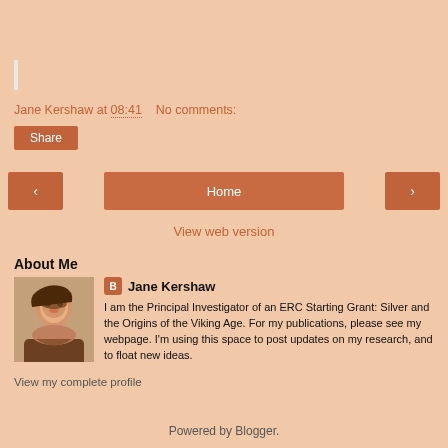Jane Kershaw at 08:41    No comments:
Share
< Home >
View web version
About Me
Jane Kershaw
I am the Principal Investigator of an ERC Starting Grant: Silver and the Origins of the Viking Age. For my publications, please see my webpage. I'm using this space to post updates on my research, and to float new ideas.
View my complete profile
Powered by Blogger.